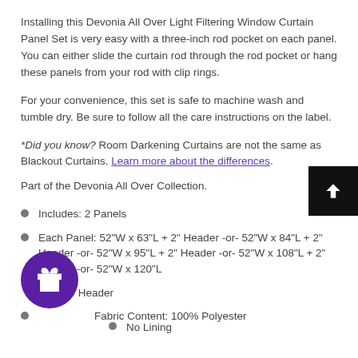Installing this Devonia All Over Light Filtering Window Curtain Panel Set is very easy with a three-inch rod pocket on each panel. You can either slide the curtain rod through the rod pocket or hang these panels from your rod with clip rings.
For your convenience, this set is safe to machine wash and tumble dry. Be sure to follow all the care instructions on the label.
*Did you know? Room Darkening Curtains are not the same as Blackout Curtains. Learn more about the differences.
Part of the Devonia All Over Collection.
Includes: 2 Panels
Each Panel: 52"W x 63"L + 2" Header -or- 52"W x 84"L + 2" Header -or- 52"W x 95"L + 2" Header -or- 52"W x 108"L + 2" Header -or- 52"W x 120"L + 2" Header
Fabric Content: 100% Polyester
No Lining